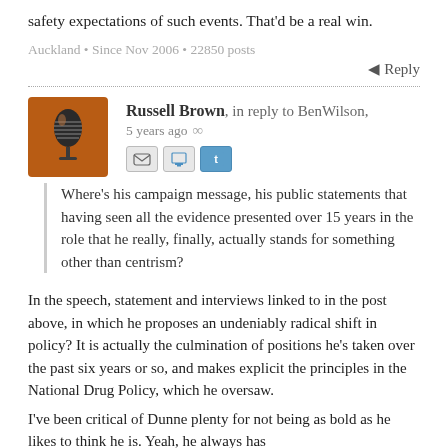safety expectations of such events. That'd be a real win.
Auckland • Since Nov 2006 • 22850 posts
Reply
[Figure (photo): Avatar image of a microphone on an orange/brown background]
Russell Brown, in reply to BenWilson, 5 years ago
Where's his campaign message, his public statements that having seen all the evidence presented over 15 years in the role that he really, finally, actually stands for something other than centrism?
In the speech, statement and interviews linked to in the post above, in which he proposes an undeniably radical shift in policy? It is actually the culmination of positions he's taken over the past six years or so, and makes explicit the principles in the National Drug Policy, which he oversaw.
I've been critical of Dunne plenty for not being as bold as he likes to think he is. Yeah, he always has